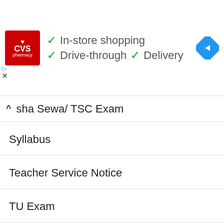[Figure (screenshot): CVS Pharmacy advertisement banner with logo, checkmarks for In-store shopping, Drive-through, and Delivery services, and a navigation arrow icon]
sha Sewa/ TSC Exam
Syllabus
Teacher Service Notice
TU Exam
Uncategorized
University Notice